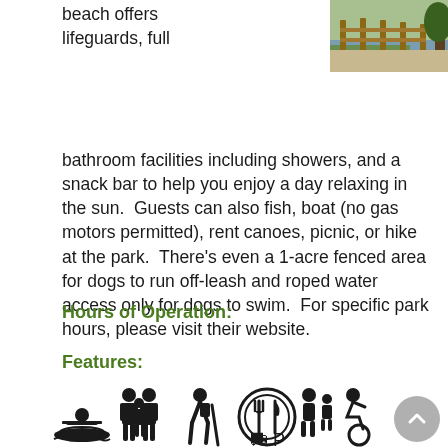[Figure (photo): Photo of a wooden fence/boardwalk with grass and water in background, park scene]
beach offers lifeguards, full bathroom facilities including showers, and a snack bar to help you enjoy a day relaxing in the sun. Guests can also fish, boat (no gas motors permitted), rent canoes, picnic, or hike at the park. There's even a 1-acre fenced area for dogs to run off-leash and roped water access only for dogs to swim. For specific park hours, please visit their website.
Hours of Operation:
Features:
[Figure (infographic): Row of park amenity icons: kayaking/canoeing, family/group, hiking, dining/restaurant, accessibility/people, wheelchair accessible, picnic table with shelter, parking. Also a scroll-to-top button.]